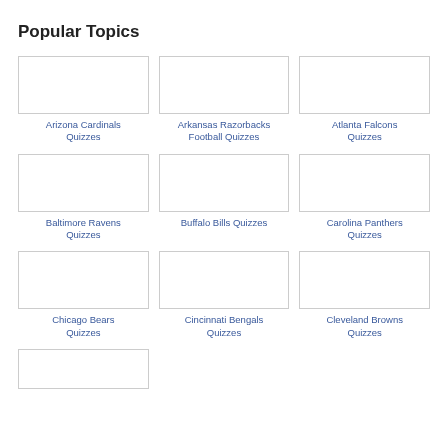Popular Topics
[Figure (illustration): Arizona Cardinals Quizzes thumbnail image placeholder]
Arizona Cardinals Quizzes
[Figure (illustration): Arkansas Razorbacks Football Quizzes thumbnail image placeholder]
Arkansas Razorbacks Football Quizzes
[Figure (illustration): Atlanta Falcons Quizzes thumbnail image placeholder]
Atlanta Falcons Quizzes
[Figure (illustration): Baltimore Ravens Quizzes thumbnail image placeholder]
Baltimore Ravens Quizzes
[Figure (illustration): Buffalo Bills Quizzes thumbnail image placeholder]
Buffalo Bills Quizzes
[Figure (illustration): Carolina Panthers Quizzes thumbnail image placeholder]
Carolina Panthers Quizzes
[Figure (illustration): Chicago Bears Quizzes thumbnail image placeholder]
Chicago Bears Quizzes
[Figure (illustration): Cincinnati Bengals Quizzes thumbnail image placeholder]
Cincinnati Bengals Quizzes
[Figure (illustration): Cleveland Browns Quizzes thumbnail image placeholder]
Cleveland Browns Quizzes
[Figure (illustration): Partial fourth row thumbnail image placeholder]